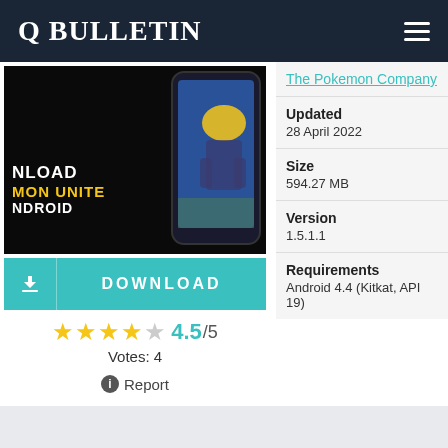Q BULLETIN
[Figure (screenshot): App promotional image showing Pokemon Unite download screen with a hand holding a phone displaying the game, text: NLOAD, MON UNITE, NDROID]
DOWNLOAD
★★★★☆ 4.5/5
Votes: 4
ⓘ Report
The Pokemon Company
Updated
28 April 2022
Size
594.27 MB
Version
1.5.1.1
Requirements
Android 4.4 (Kitkat, API 19)